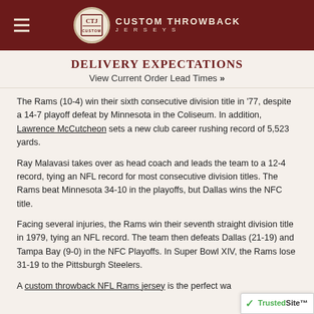Custom Throwback Jerseys — site header with logo and hamburger menu
DELIVERY EXPECTATIONS
View Current Order Lead Times »
The Rams (10-4) win their sixth consecutive division title in '77, despite a 14-7 playoff defeat by Minnesota in the Coliseum. In addition, Lawrence McCutcheon sets a new club career rushing record of 5,523 yards.
Ray Malavasi takes over as head coach and leads the team to a 12-4 record, tying an NFL record for most consecutive division titles. The Rams beat Minnesota 34-10 in the playoffs, but Dallas wins the NFC title.
Facing several injuries, the Rams win their seventh straight division title in 1979, tying an NFL record. The team then defeats Dallas (21-19) and Tampa Bay (9-0) in the NFC Playoffs. In Super Bowl XIV, the Rams lose 31-19 to the Pittsburgh Steelers.
A custom throwback NFL Rams jersey is the perfect wa…